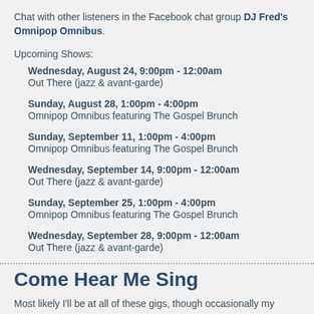Chat with other listeners in the Facebook chat group DJ Fred's Omnipop Omnibus.
Upcoming Shows:
Wednesday, August 24,  9:00pm - 12:00am
Out There (jazz & avant-garde)
Sunday, August 28,  1:00pm - 4:00pm
Omnipop Omnibus featuring The Gospel Brunch
Sunday, September 11,  1:00pm - 4:00pm
Omnipop Omnibus featuring The Gospel Brunch
Wednesday, September 14,  9:00pm - 12:00am
Out There (jazz & avant-garde)
Sunday, September 25,  1:00pm - 4:00pm
Omnipop Omnibus featuring The Gospel Brunch
Wednesday, September 28,  9:00pm - 12:00am
Out There (jazz & avant-garde)
Come Hear Me Sing
Most likely I'll be at all of these gigs, though occasionally my